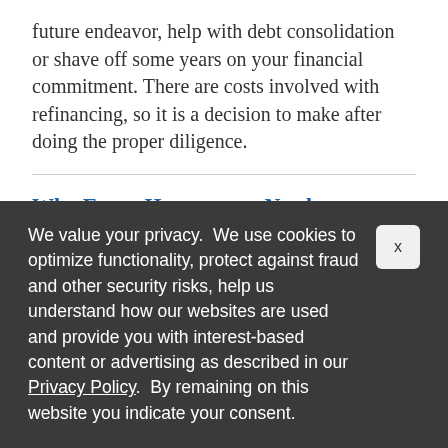future endeavor, help with debt consolidation or shave off some years on your financial commitment. There are costs involved with refinancing, so it is a decision to make after doing the proper diligence.
Why Every Homeowner Needs a HELOC
12/19/2019
If there's one thing of which homeowners can be sure, it's that owning a home comes with unexpected
We value your privacy.  We use cookies to optimize functionality, protect against fraud and other security risks, help us understand how our websites are used and provide you with interest-based content or advertising as described in our Privacy Policy.  By remaining on this website you indicate your consent.